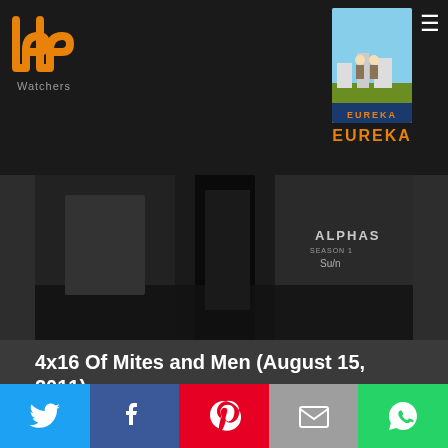PP Watchers — EUREKA
[Figure (screenshot): Video thumbnail showing dark scene with 'ALPHAS' text overlay]
4x16 Of Mites and Men (August 15, 2011)
When mites threaten to take down Global Dynamics, Jack is called into action since Jo is in the middle of training. Allison is struggling with the fact that everyone things that her brain doesn't work and she is determined to
Share buttons: Twitter, Facebook, Pinterest, Email, WhatsApp